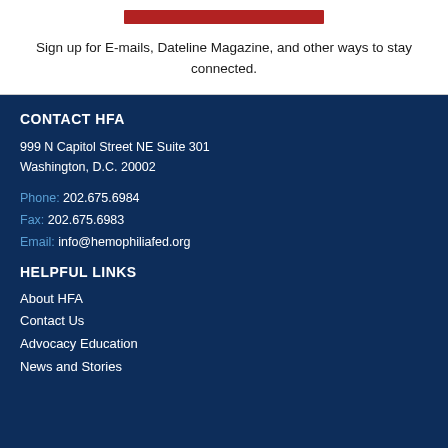[Figure (other): Red button/bar at top of page]
Sign up for E-mails, Dateline Magazine, and other ways to stay connected.
CONTACT HFA
999 N Capitol Street NE Suite 301
Washington, D.C. 20002
Phone: 202.675.6984
Fax: 202.675.6983
Email: info@hemophiliafed.org
HELPFUL LINKS
About HFA
Contact Us
Advocacy Education
News and Stories